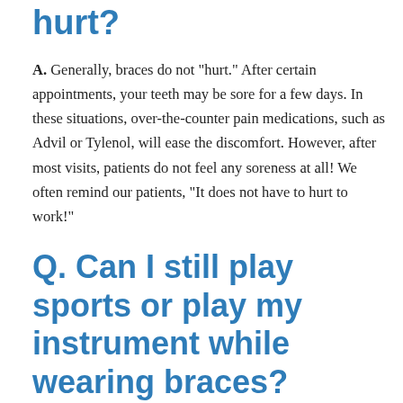hurt?
A. Generally, braces do not "hurt." After certain appointments, your teeth may be sore for a few days. In these situations, over-the-counter pain medications, such as Advil or Tylenol, will ease the discomfort. However, after most visits, patients do not feel any soreness at all! We often remind our patients, “It does not have to hurt to work!”
Q. Can I still play sports or play my instrument while wearing braces?
A. Yes! We recommend that patients wear mouthguards while playing sports. Musicians will likely experience an adjustment period until they are comfortable playing their instrument.